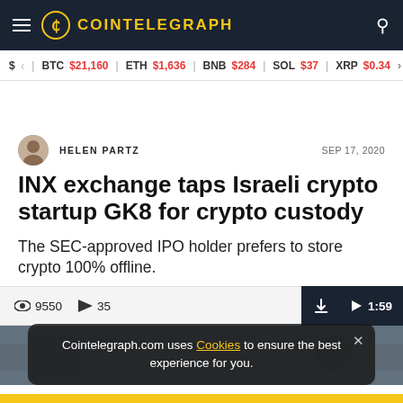COINTELEGRAPH
$ BTC $21,160  ETH $1,636  BNB $284  SOL $37  XRP $0.34
HELEN PARTZ  SEP 17, 2020
INX exchange taps Israeli crypto startup GK8 for crypto custody
The SEC-approved IPO holder prefers to store crypto 100% offline.
9550  35  1:59
[Figure (photo): Blurred background image behind the article]
Cointelegraph.com uses Cookies to ensure the best experience for you.